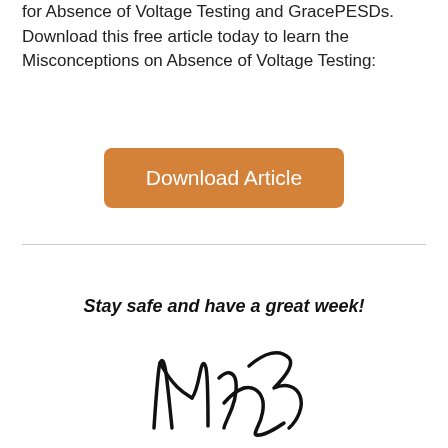for Absence of Voltage Testing and GracePESDs. Download this free article today to learn the Misconceptions on Absence of Voltage Testing:
[Figure (other): Orange rounded button labeled 'Download Article']
Stay safe and have a great week!
[Figure (illustration): Handwritten signature reading 'Nick']